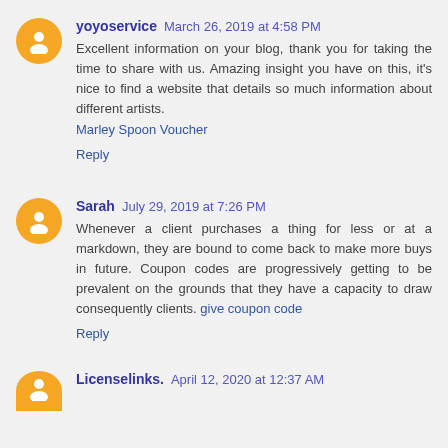yoyoservice March 26, 2019 at 4:58 PM
Excellent information on your blog, thank you for taking the time to share with us. Amazing insight you have on this, it's nice to find a website that details so much information about different artists.
Marley Spoon Voucher
Reply
Sarah July 29, 2019 at 7:26 PM
Whenever a client purchases a thing for less or at a markdown, they are bound to come back to make more buys in future. Coupon codes are progressively getting to be prevalent on the grounds that they have a capacity to draw consequently clients. give coupon code
Reply
Licenselinks. April 12, 2020 at 12:37 AM